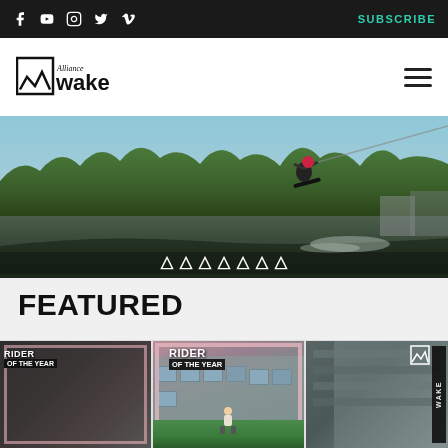Social icons: Facebook, YouTube, Instagram, Twitter, Vimeo | SUBSCRIBE
[Figure (logo): Alliance Wake logo with mountain/chevron icon and stylized text]
[Figure (photo): Action photo of a wakeboarder performing an aerial trick over a lake, with green trees in background and water spray]
FEATURED
[Figure (photo): Three overlapping cards showing 'Rider of the Year' award content with building/resort backgrounds]